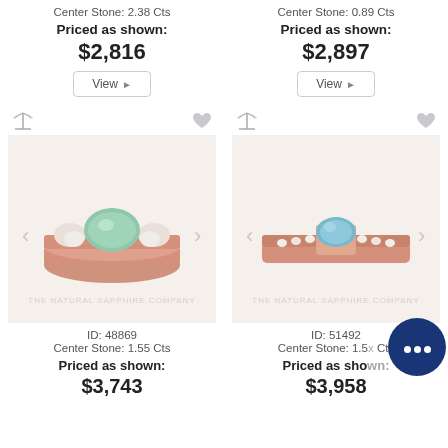Center Stone: 2.38 Cts
Priced as shown:
$2,816
Center Stone: 0.89 Cts
Priced as shown:
$2,897
[Figure (photo): Rose gold ring with oval green sapphire center stone and diamond side stones, ID 48869, The Natural Sapphire Company]
ID: 48869
Center Stone: 1.55 Cts
Priced as shown:
$3,743
[Figure (photo): Rose gold ring with oval aquamarine/blue sapphire center stone and pavé diamond band, ID 51492, The Natural Sapphire Company]
ID: 51492
Center Stone: 1.5x Cts
Priced as shown:
$3,958